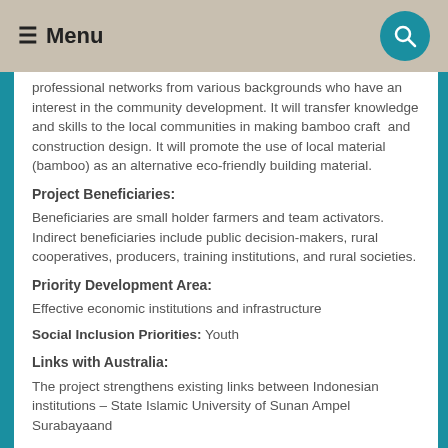≡ Menu
professional networks from various backgrounds who have an interest in the community development. It will transfer knowledge and skills to the local communities in making bamboo craft  and construction design. It will promote the use of local material (bamboo) as an alternative eco-friendly building material.
Project Beneficiaries:
Beneficiaries are small holder farmers and team activators. Indirect beneficiaries include public decision-makers, rural cooperatives, producers, training institutions, and rural societies.
Priority Development Area:
Effective economic institutions and infrastructure
Social Inclusion Priorities: Youth
Links with Australia:
The project strengthens existing links between Indonesian institutions – State Islamic University of Sunan Ampel Surabayaand